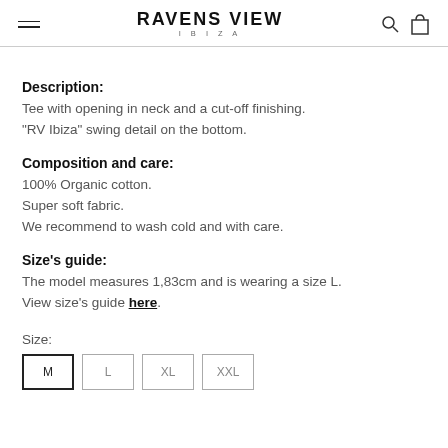RAVENS VIEW IBIZA
Description:
Tee with opening in neck and a cut-off finishing.
"RV Ibiza" swing detail on the bottom.
Composition and care:
100% Organic cotton.
Super soft fabric.
We recommend to wash cold and with care.
Size's guide:
The model measures 1,83cm and is wearing a size L.
View size's guide here.
Size:
M  L  XL  XXL